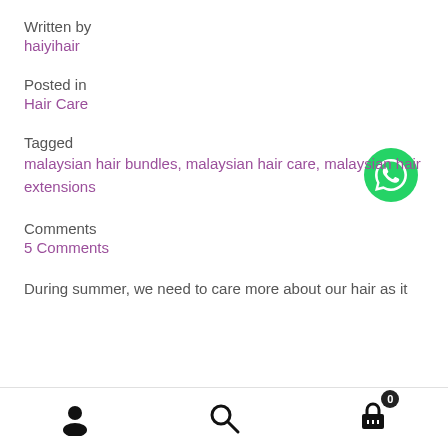Written by
haiyihair
Posted in
Hair Care
[Figure (logo): WhatsApp green phone icon button]
Tagged
malaysian hair bundles, malaysian hair care, malaysian hair extensions
Comments
5 Comments
During summer, we need to care more about our hair as it
User icon | Search icon | Cart icon with badge 0